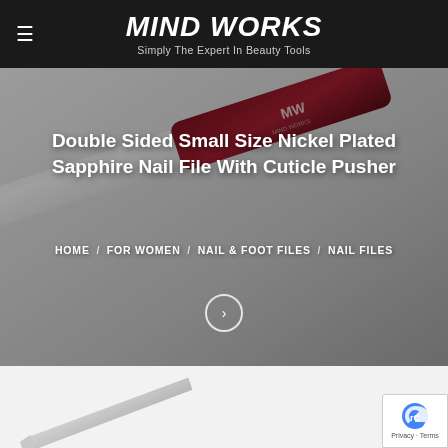MIND WORKS — Simply The Expert In Beauty Tools
Double Sided Small Size Nickel Plated Sapphire Nail File With Cuticle Pusher
HOME / FOR WOMEN / NAIL & FOOT FILES / NAIL FILES
[Figure (photo): Close-up photo of a nickel-plated sapphire nail file with a dark burgundy handle showing the MW Mind Works logo, on a grey background]
[Figure (photo): Partial view of a nail file tip on a light grey/white background, lower portion of product page]